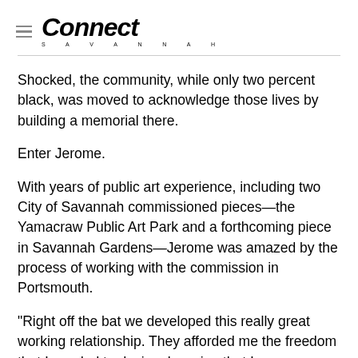Connect Savannah
Shocked, the community, while only two percent black, was moved to acknowledge those lives by building a memorial there.
Enter Jerome.
With years of public art experience, including two City of Savannah commissioned pieces—the Yamacraw Public Art Park and a forthcoming piece in Savannah Gardens—Jerome was amazed by the process of working with the commission in Portsmouth.
“Right off the bat we developed this really great working relationship. They afforded me the freedom that I needed to design, knowing that I was respecting their wishes in terms of what the object was,” Jerome says.